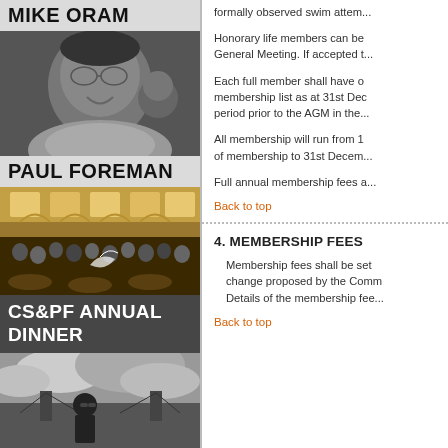MIKE ORAM
[Figure (photo): Black and white portrait photo of a smiling man]
PAUL FOREMAN
[Figure (photo): Color photo of a formal dinner event in a grand hall with many attendees]
CS&PF ANNUAL DINNER
[Figure (photo): Black and white photo of a man with city skyline and dramatic clouds]
formally observed swim attem...
Honorary life members can be... General Meeting. If accepted t...
Each full member shall have o... membership list as at 31st Dec... period prior to the AGM in the...
All membership will run from 1... of membership to 31st Decem...
Full annual membership fees a...
Back to top
4. MEMBERSHIP FEES
Membership fees shall be set... change proposed by the Comm... Details of the membership fee...
Back to top